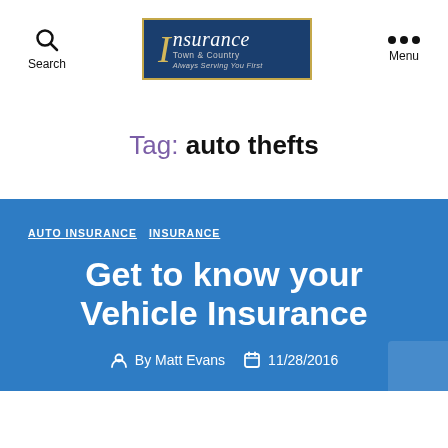[Figure (logo): Insurance Town & Country logo — dark blue rectangle with gold border, italic serif 'Insurance' text in white/gold, subtitle 'Town & Country Always Serving You First']
Tag: auto thefts
AUTO INSURANCE  INSURANCE
Get to know your Vehicle Insurance
By Matt Evans  11/28/2016